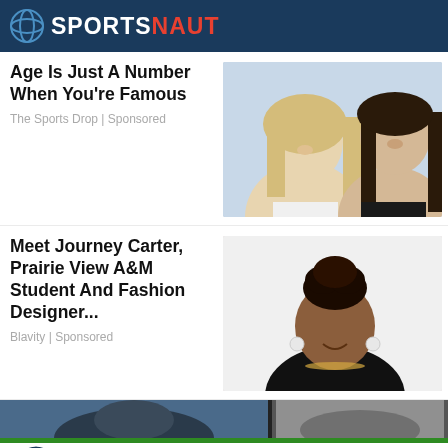SPORTSNAUT
Age Is Just A Number When You're Famous
The Sports Drop | Sponsored
[Figure (photo): A young blonde woman and an older man with long dark hair posing together]
Meet Journey Carter, Prairie View A&M Student And Fashion Designer...
Blavity | Sponsored
[Figure (photo): A young Black woman with hair in a bun, wearing a black shirt and gold necklace, smiling]
[Figure (photo): Bottom strip partial images]
Sportsnaut logo and social media icons: Facebook, Twitter, LinkedIn, Instagram, YouTube